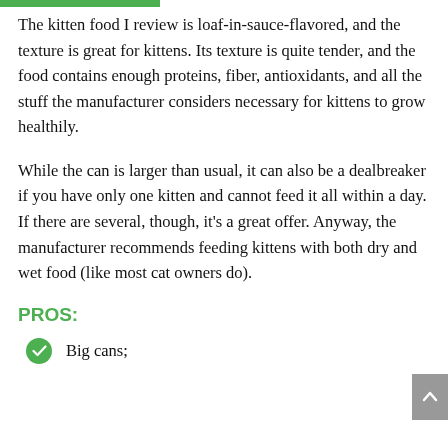The kitten food I review is loaf-in-sauce-flavored, and the texture is great for kittens. Its texture is quite tender, and the food contains enough proteins, fiber, antioxidants, and all the stuff the manufacturer considers necessary for kittens to grow healthily.
While the can is larger than usual, it can also be a dealbreaker if you have only one kitten and cannot feed it all within a day. If there are several, though, it’s a great offer. Anyway, the manufacturer recommends feeding kittens with both dry and wet food (like most cat owners do).
PROS:
Big cans;